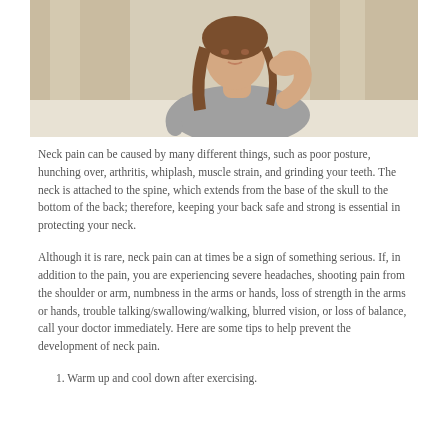[Figure (photo): Woman sitting on a bed holding her neck in pain, wearing a gray tank top, brown hair, indoor setting with curtains in background]
Neck pain can be caused by many different things, such as poor posture, hunching over, arthritis, whiplash, muscle strain, and grinding your teeth. The neck is attached to the spine, which extends from the base of the skull to the bottom of the back; therefore, keeping your back safe and strong is essential in protecting your neck.
Although it is rare, neck pain can at times be a sign of something serious. If, in addition to the pain, you are experiencing severe headaches, shooting pain from the shoulder or arm, numbness in the arms or hands, loss of strength in the arms or hands, trouble talking/swallowing/walking, blurred vision, or loss of balance, call your doctor immediately. Here are some tips to help prevent the development of neck pain.
1. Warm up and cool down after exercising.